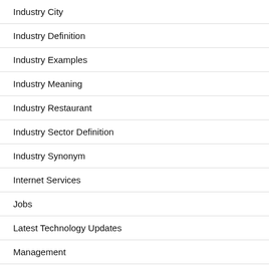Industry City
Industry Definition
Industry Examples
Industry Meaning
Industry Restaurant
Industry Sector Definition
Industry Synonym
Internet Services
Jobs
Latest Technology Updates
Management
Market
Miscellaneous
Money